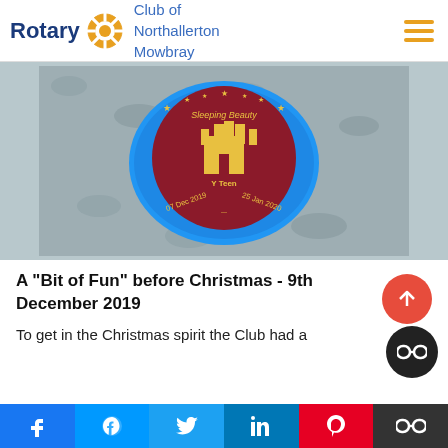Rotary Club of Northallerton Mowbray
[Figure (photo): A round badge/button with a castle on it, reading '07 Dec 2019 - 25 Jan 2020', wrapped in blue foil, lying on a grey surface]
A "Bit of Fun" before Christmas - 9th December 2019
To get in the Christmas spirit the Club had a
f  [messenger]  [twitter]  in  P  [co]